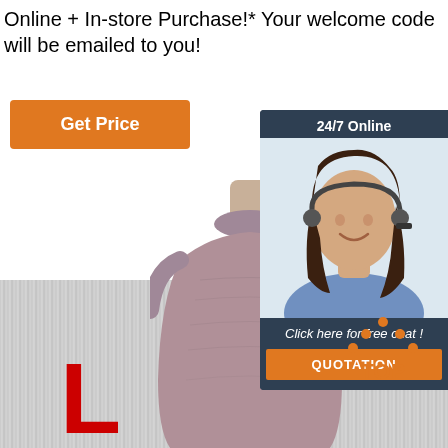Online + In-store Purchase!* Your welcome code will be emailed to you!
[Figure (other): Orange 'Get Price' button]
[Figure (photo): Chat widget with '24/7 Online' header, photo of smiling woman with headset, 'Click here for free chat!' text, and orange QUOTATION button]
[Figure (photo): Mannequin wearing a dusty pink/mauve velvet sleeveless turtleneck top on a grey textile background]
[Figure (logo): TOP logo with orange triangle/dots above word TOP in orange]
L